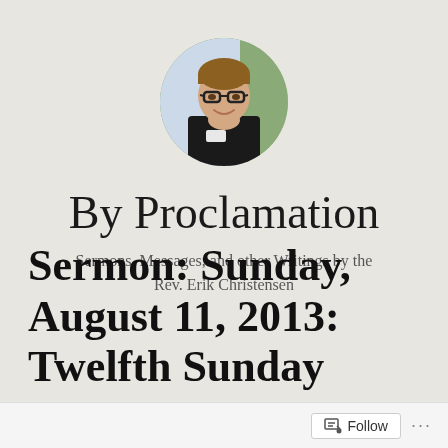[Figure (photo): Circular profile photo of a smiling man wearing glasses and a clerical collar, against a light background.]
By Proclamation
Sermons, Messages, and other Writings by the Rev. Erik Christensen
Sermon: Sunday, August 11, 2013: Twelfth Sunday